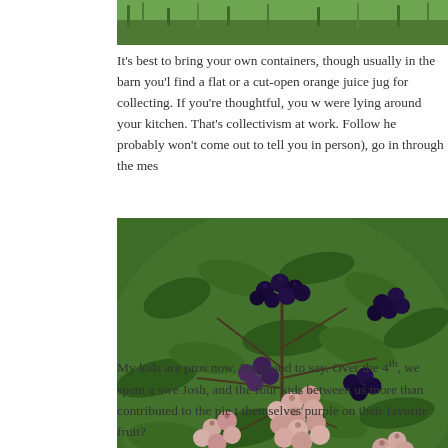[Figure (photo): Top portion of a photo showing green grass/foliage background, cropped at top of page]
It's best to bring your own containers, though usually in the barn you'll find a flat or a cut-open orange juice jug for collecting. If you're thoughtful, you w... were lying around your kitchen. That's collectivism at work. Follow he... probably won't come out to tell you in person), go in through the mes...
[Figure (photo): Close-up photograph of blueberry clusters on a bush, showing both ripe dark purple blueberries and unripe greenish-pink berries with green leaves]
My kids are pros now, I'm proud to say. Over the 4th, we spent a swe... Josh, and the four kids between us more than contributed to the pie t... themselves purple on their favorite fruit?